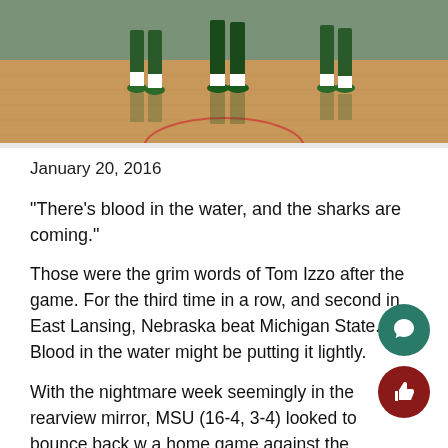[Figure (photo): Basketball players' legs and feet on a court floor, players wearing green and white uniforms with green shoes, hardwood court visible]
January 20, 2016
“There’s blood in the water, and the sharks are coming.”
Those were the grim words of Tom Izzo after the game. For the third time in a row, and second in East Lansing, Nebraska beat Michigan State. Blood in the water might be putting it lightly.
With the nightmare week seemingly in the rearview mirror, MSU (16-4, 3-4) looked to bounce back w a home game against the Cornhuskers (12-8, 4-
Nebraska star Shavon Shields hit a nifty floater over Javon Bess to put the Huskers up 68-62 wit